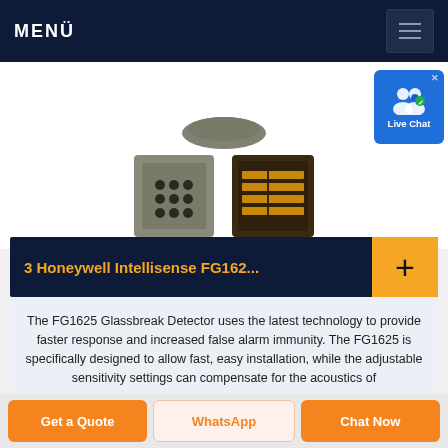MENÜ
[Figure (photo): Product images showing two small electronic sensor components/PCB chips — one with a 3x3 dot matrix pattern and one with horizontal stripe traces]
[Figure (other): Live Chat widget icon with two people silhouette]
3 Honeywell Intellisense FG162...
The FG1625 Glassbreak Detector uses the latest technology to provide faster response and increased false alarm immunity. The FG1625 is specifically designed to allow fast, easy installation, while the adjustable sensitivity settings can compensate for the acoustics of
Get a Quote  WhatsApp  Chat Now